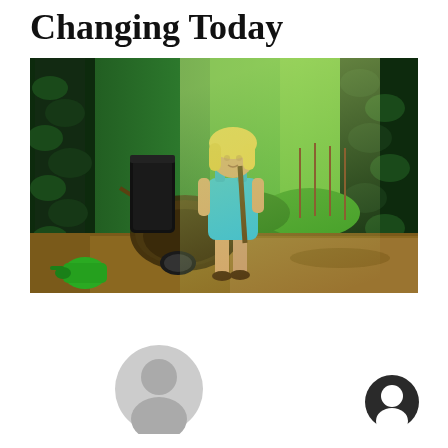Changing Today
[Figure (photo): A young blonde girl in a blue sleeveless dress standing in a garden, holding a garden tool (hoe or rake), with a wheelbarrow beside her, lush green plants and hedges in the background, sunlit garden with tilled soil.]
[Figure (illustration): Two circular avatar icons at the bottom of the page - a larger generic gray person silhouette avatar on the left-center, and a smaller dark circular avatar with a white figure on the right.]